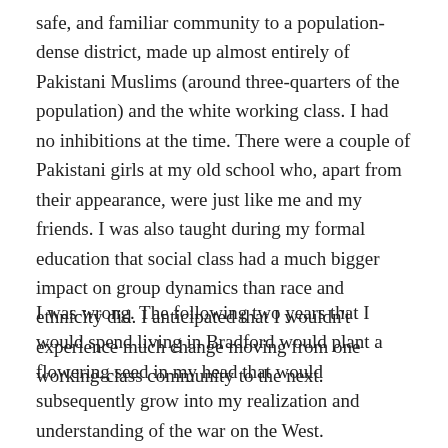safe, and familiar community to a population-dense district, made up almost entirely of Pakistani Muslims (around three-quarters of the population) and the white working class. I had no inhibitions at the time. There were a couple of Pakistani girls at my old school who, apart from their appearance, were just like me and my friends. I was also taught during my formal education that social class had a much bigger impact on group dynamics than race and ethnicity did. I anticipated that I wouldn't experience much change moving from one working-class community to the next.
I was wrong. The following two years that I would spend living in Bradford would plant a flowering seed in my head that would subsequently grow into my realization and understanding of the war on the West.